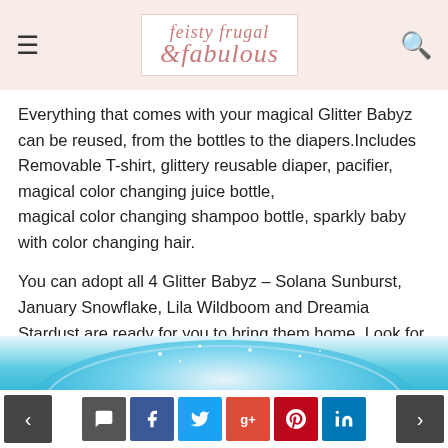feisty frugal fabulous
Everything that comes with your magical Glitter Babyz can be reused, from the bottles to the diapers.Includes Removable T-shirt, glittery reusable diaper, pacifier, magical color changing juice bottle,
magical color changing shampoo bottle, sparkly baby with color changing hair.
You can adopt all 4 Glitter Babyz – Solana Sunburst, January Snowflake, Lila Wildboom and Dreamia Stardust are ready for you to bring them home. Look for Glitter Babyz at Toys R Us and Walmart (msrp $49.99) this holiday season.
[Figure (photo): Partial view of a Glitter Babyz doll from above, showing glittery blue and gold colors.]